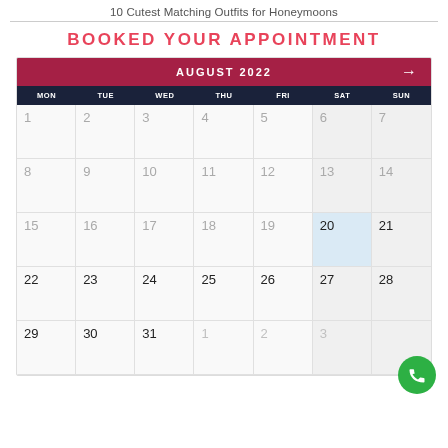10 Cutest Matching Outfits for Honeymoons
BOOKED YOUR APPOINTMENT
[Figure (other): Calendar widget showing August 2022 with day 20 highlighted in light blue. Days of week: MON, TUE, WED, THU, FRI, SAT, SUN. Dates shown: 1-31 for August, and 1,2,3 for September (grayed). A phone call button (green circle with phone icon) appears at bottom right.]